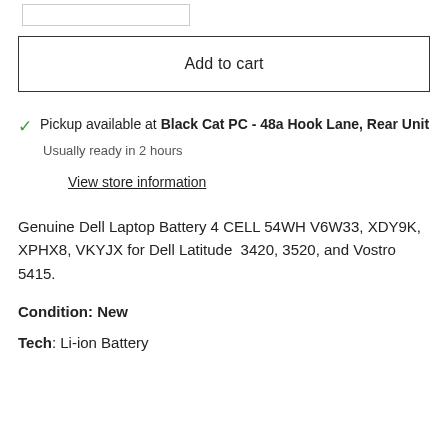[Figure (other): Small rectangular input/quantity box at the top left]
Add to cart
Pickup available at Black Cat PC - 48a Hook Lane, Rear Unit
Usually ready in 2 hours
View store information
Genuine Dell Laptop Battery 4 CELL 54WH V6W33, XDY9K, XPHX8, VKYJX for Dell Latitude 3420, 3520, and Vostro 5415.
Condition: New
Tech: Li-ion Battery